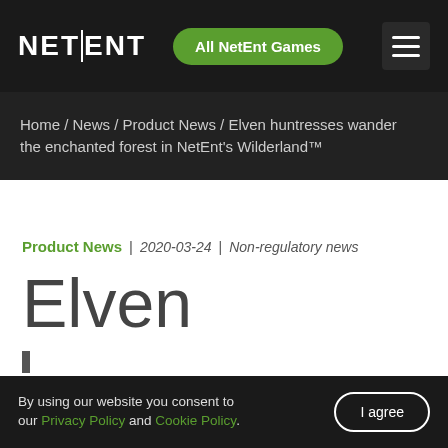NETENT | All NetEnt Games
Home / News / Product News / Elven huntresses wander the enchanted forest in NetEnt's Wilderland™
Product News | 2020-03-24 | Non-regulatory news
Elven
By using our website you consent to our Privacy Policy and Cookie Policy. | I agree